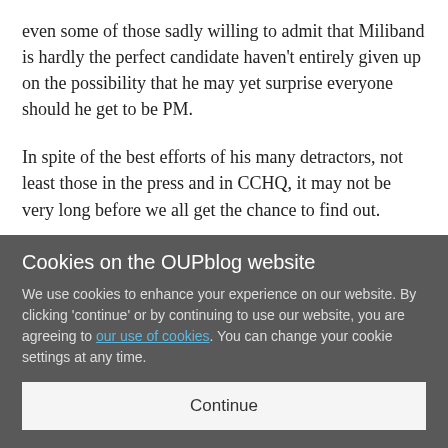even some of those sadly willing to admit that Miliband is hardly the perfect candidate haven't entirely given up on the possibility that he may yet surprise everyone should he get to be PM.
In spite of the best efforts of his many detractors, not least those in the press and in CCHQ, it may not be very long before we all get the chance to find out.
This article was originally posted on Westminster Policy Institute on 6 March 2015.
Cookies on the OUPblog website
We use cookies to enhance your experience on our website. By clicking 'continue' or by continuing to use our website, you are agreeing to our use of cookies. You can change your cookie settings at any time.
Continue